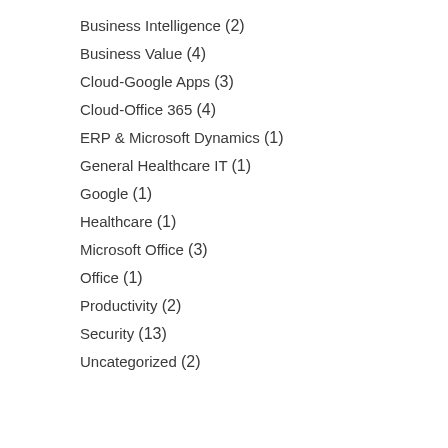Business Intelligence (2)
Business Value (4)
Cloud-Google Apps (3)
Cloud-Office 365 (4)
ERP & Microsoft Dynamics (1)
General Healthcare IT (1)
Google (1)
Healthcare (1)
Microsoft Office (3)
Office (1)
Productivity (2)
Security (13)
Uncategorized (2)